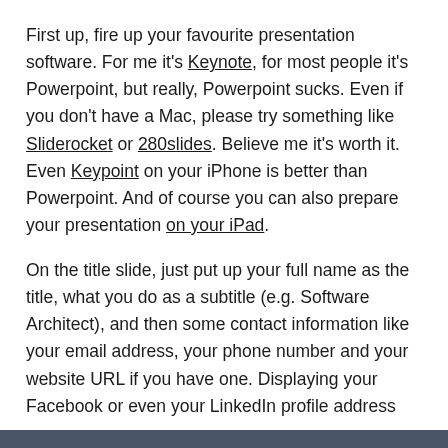First up, fire up your favourite presentation software. For me it's Keynote, for most people it's Powerpoint, but really, Powerpoint sucks. Even if you don't have a Mac, please try something like Sliderocket or 280slides. Believe me it's worth it. Even Keypoint on your iPhone is better than Powerpoint. And of course you can also prepare your presentation on your iPad.
On the title slide, just put up your full name as the title, what you do as a subtitle (e.g. Software Architect), and then some contact information like your email address, your phone number and your website URL if you have one. Displaying your Facebook or even your LinkedIn profile address